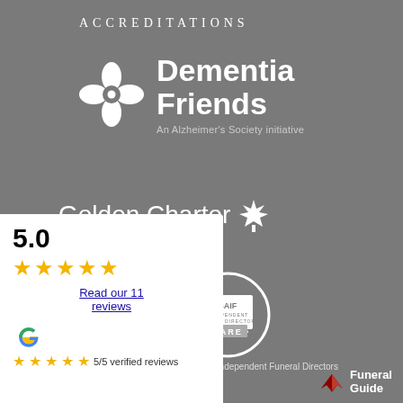ACCREDITATIONS
[Figure (logo): Dementia Friends logo - flower icon with text 'Dementia Friends' and subtitle 'An Alzheimer's Society initiative']
[Figure (logo): Golden Charter logo - text 'Golden Charter' with maple leaf icon and subtitle 'Smart Planning for Later Life']
[Figure (logo): SAIF Member - Independent Funeral Directors badge logo]
[Figure (logo): SAIF Independent Funeral Directors CARE logo]
Society of Allied and Independent Funeral Directors
5.0
★★★★★
Read our 11 reviews
[Figure (logo): Google G logo]
★★★★★ 5/5 verified reviews
[Figure (logo): Funeral Guide logo with wing icon]